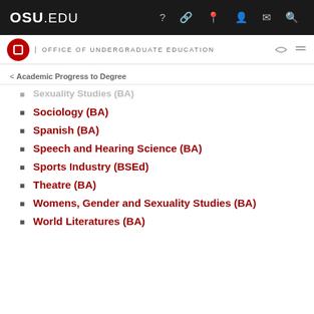OSU.EDU
OFFICE OF UNDERGRADUATE EDUCATION
< Academic Progress to Degree
Sexuality Studies (BA)
Sociology (BA)
Spanish (BA)
Speech and Hearing Science (BA)
Sports Industry (BSEd)
Theatre (BA)
Womens, Gender and Sexuality Studies (BA)
World Literatures (BA)